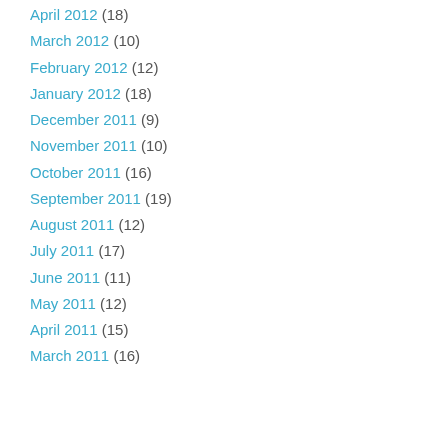April 2012 (18)
March 2012 (10)
February 2012 (12)
January 2012 (18)
December 2011 (9)
November 2011 (10)
October 2011 (16)
September 2011 (19)
August 2011 (12)
July 2011 (17)
June 2011 (11)
May 2011 (12)
April 2011 (15)
March 2011 (16)